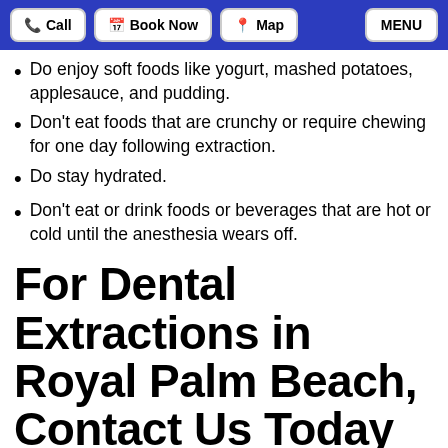Call | Book Now | Map | MENU
Do enjoy soft foods like yogurt, mashed potatoes, applesauce, and pudding.
Don’t eat foods that are crunchy or require chewing for one day following extraction.
Do stay hydrated.
Don’t eat or drink foods or beverages that are hot or cold until the anesthesia wears off.
For Dental Extractions in Royal Palm Beach, Contact Us Today